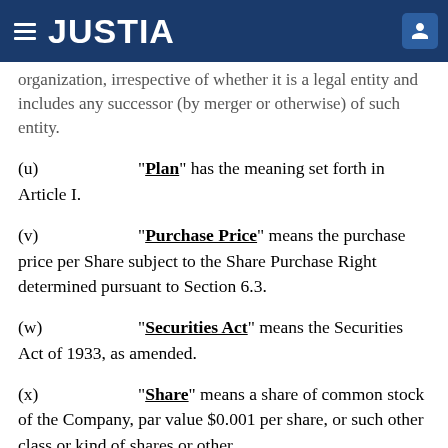JUSTIA
organization, irrespective of whether it is a legal entity and includes any successor (by merger or otherwise) of such entity.
(u)   “Plan” has the meaning set forth in Article I.
(v)   “Purchase Price” means the purchase price per Share subject to the Share Purchase Right determined pursuant to Section 6.3.
(w)   “Securities Act” means the Securities Act of 1933, as amended.
(x)   “Share” means a share of common stock of the Company, par value $0.001 per share, or such other class or kind of shares or other